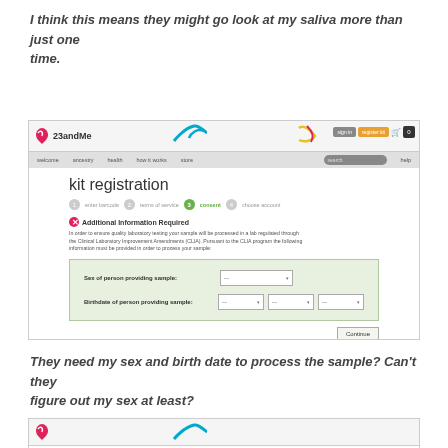I think this means they might go look at my saliva more than just one time.
[Figure (screenshot): Screenshot of 23andMe kit registration page showing 'Additional Information Required' form with fields for sex and birthdate of person providing sample]
They need my sex and birth date to process the sample? Can't they figure out my sex at least?
[Figure (screenshot): Partial screenshot of another 23andMe page, only showing the top navigation bar]